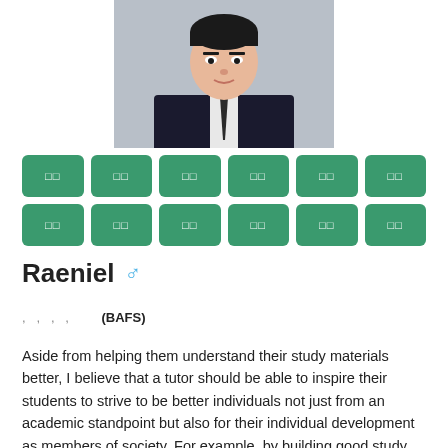[Figure (photo): Headshot photo of a young Asian man in a dark suit and tie, against a gray background]
[Figure (infographic): Two rows of six green rounded rectangle buttons each containing two small white squares (placeholder text/icons)]
Raeniel ♂
, , , , (BAFS)
Aside from helping them understand their study materials better, I believe that a tutor should be able to inspire their students to strive to be better individuals not just from an academic standpoint but also for their individual development as members of society. For example, by building good study habits from a young age would help in